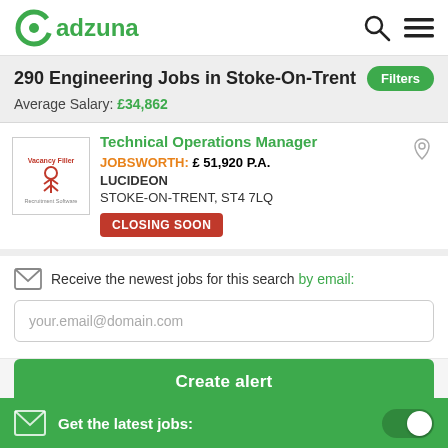adzuna
290 Engineering Jobs in Stoke-On-Trent
Average Salary: £34,862
Technical Operations Manager
JOBSWORTH: £ 51,920 P.A.
LUCIDEON
STOKE-ON-TRENT, ST4 7LQ
CLOSING SOON
Receive the newest jobs for this search by email:
your.email@domain.com
Create alert
Get the latest jobs: